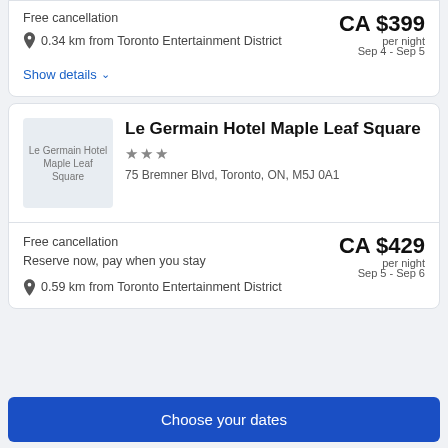Free cancellation
0.34 km from Toronto Entertainment District
CA $399 per night Sep 4 - Sep 5
Show details
[Figure (photo): Le Germain Hotel Maple Leaf Square hotel thumbnail image placeholder]
Le Germain Hotel Maple Leaf Square
★★★
75 Bremner Blvd, Toronto, ON, M5J 0A1
Free cancellation
Reserve now, pay when you stay
0.59 km from Toronto Entertainment District
CA $429 per night Sep 5 - Sep 6
Choose your dates